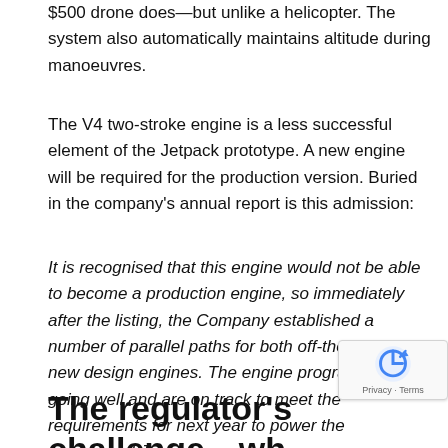$500 drone does—but unlike a helicopter. The system also automatically maintains altitude during manoeuvres.
The V4 two-stroke engine is a less successful element of the Jetpack prototype. A new engine will be required for the production version. Buried in the company's annual report is this admission:
It is recognised that this engine would not be able to become a production engine, so immediately after the listing, the Company established a number of parallel paths for both off-the-shelf and new design engines. The engine programmes are going well and are on track to meet the requirements for next year to power the commercial Jetpack.
The regulator's challenge—wh is it?